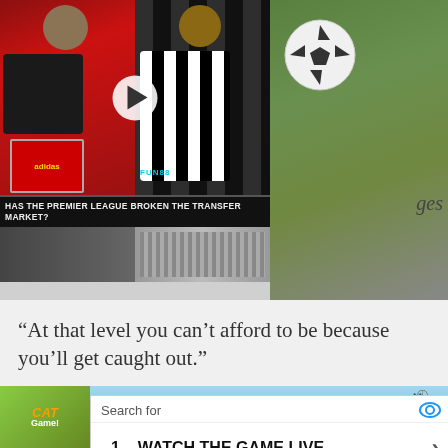[Figure (screenshot): Video thumbnail showing 'Has The Premier League Broken The Transfer Market?' with two football players and a play button, alongside a soccer ball on grass image. Partial text 'ges' visible.]
“At that level you can’t afford to be because you’ll get caught out.”
[Figure (screenshot): Advertisement: Search for box with eye icon. Item 1: WATCH THE GAME LIVE with chevron arrow. Item 2: 10 STOCKS TO HOLD FOREVER with chevron arrow. Close X button in bottom-right corner.]
[Figure (screenshot): Bottom banner advertisement for 'Cat Game' mobile app with cat illustrations and 'ADOPT A CAT NOW' orange button. Info and X close buttons visible.]